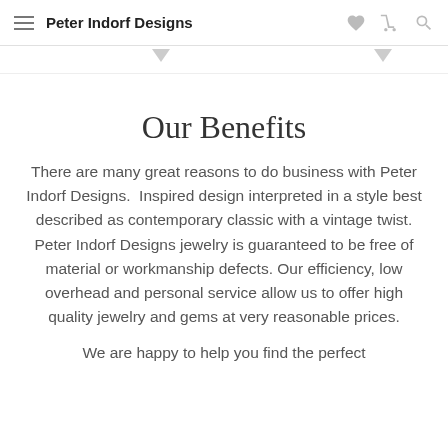Peter Indorf Designs
Our Benefits
There are many great reasons to do business with Peter Indorf Designs.  Inspired design interpreted in a style best described as contemporary classic with a vintage twist. Peter Indorf Designs jewelry is guaranteed to be free of material or workmanship defects. Our efficiency, low overhead and personal service allow us to offer high quality jewelry and gems at very reasonable prices.
We are happy to help you find the perfect